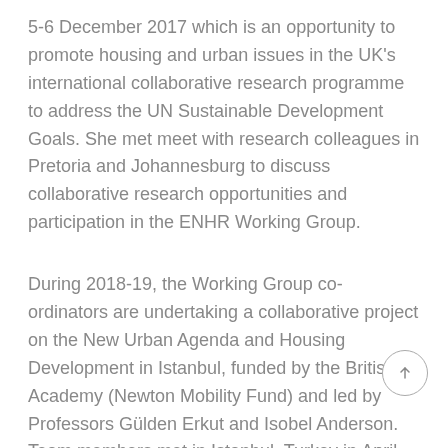5-6 December 2017 which is an opportunity to promote housing and urban issues in the UK's international collaborative research programme to address the UN Sustainable Development Goals. She met meet with research colleagues in Pretoria and Johannesburg to discuss collaborative research opportunities and participation in the ENHR Working Group.
During 2018-19, the Working Group co-ordinators are undertaking a collaborative project on the New Urban Agenda and Housing Development in Istanbul, funded by the British Academy (Newton Mobility Fund) and led by Professors Gülden Erkut and Isobel Anderson. Team members met in Istanbul, Turkey in April 2018; in Stirling/Glasgow, UK in June 2018; and held a final project meeting planned in Istanbul in February 2019.
Members of the co-ordination team attended the